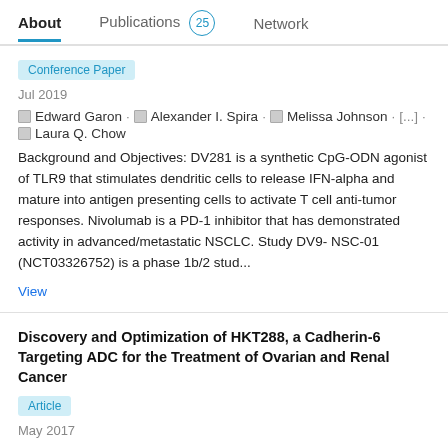About | Publications 25 | Network
Conference Paper
Jul 2019
Edward Garon · Alexander I. Spira · Melissa Johnson · [...] · Laura Q. Chow
Background and Objectives: DV281 is a synthetic CpG-ODN agonist of TLR9 that stimulates dendritic cells to release IFN-alpha and mature into antigen presenting cells to activate T cell anti-tumor responses. Nivolumab is a PD-1 inhibitor that has demonstrated activity in advanced/metastatic NSCLC. Study DV9- NSC-01 (NCT03326752) is a phase 1b/2 stud...
View
Discovery and Optimization of HKT288, a Cadherin-6 Targeting ADC for the Treatment of Ovarian and Renal Cancer
Article
May 2017